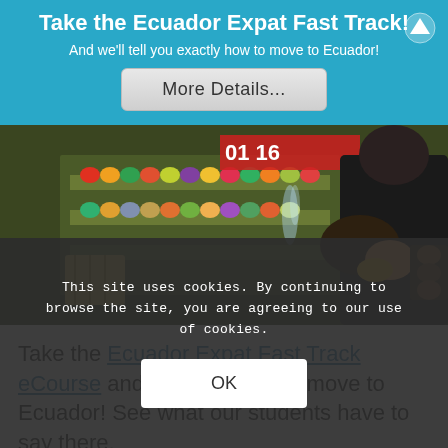Take the Ecuador Expat Fast Track!
And we'll tell you exactly how to move to Ecuador!
More Details...
[Figure (photo): Market scene with fruits and vegetables, person selecting produce]
Take the Ecuador Expat Fast Track eCourse and streamline your move to Ecuador! See what our students have to say there.
Note: We sold out of the discount mentioned in the video.
This video shows a typical travel day for us.
This site uses cookies. By continuing to browse the site, you are agreeing to our use of cookies.
OK